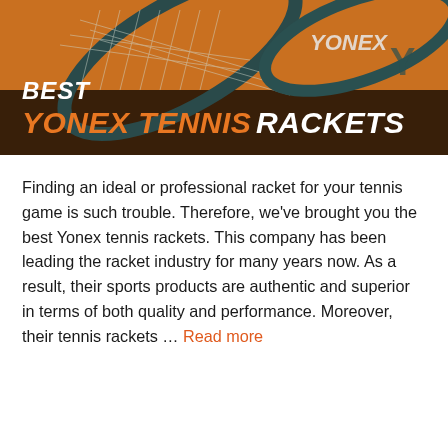[Figure (photo): Hero image of Yonex tennis rackets on an orange/dark background with white and orange bold text overlaid reading 'BEST YONEX TENNIS RACKETS']
Finding an ideal or professional racket for your tennis game is such trouble. Therefore, we've brought you the best Yonex tennis rackets. This company has been leading the racket industry for many years now. As a result, their sports products are authentic and superior in terms of both quality and performance. Moreover, their tennis rackets … Read more